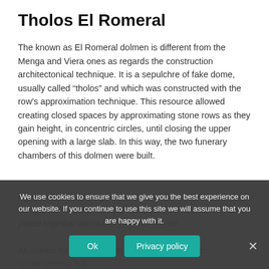Tholos El Romeral
The known as El Romeral dolmen is different from the Menga and Viera ones as regards the construction architectonical technique. It is a sepulchre of fake dome, usually called “tholos” and which was constructed with the row’s approximation technique. This resource allowed creating closed spaces by approximating stone rows as they gain height, in concentric circles, until closing the upper opening with a large slab. In this way, the two funerary chambers of this dolmen were built.
Also, and unlike Menga and Viera, El Romeral one was built using small stones, although, it is, medium and small sizes, joined together without any kind of mortar.
All stones from this dolmen, as in many neolithic constructions, are made of flint.
We use cookies to ensure that we give you the best experience on our website. If you continue to use this site we will assume that you are happy with it.